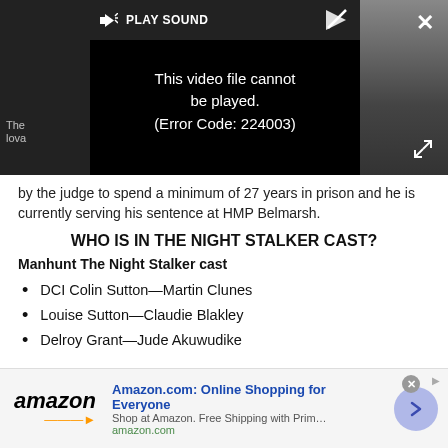[Figure (screenshot): Video player showing error: 'This video file cannot be played. (Error Code: 224003)' with play sound button and dark background]
by the judge to spend a minimum of 27 years in prison and he is currently serving his sentence at HMP Belmarsh.
WHO IS IN THE NIGHT STALKER CAST?
Manhunt The Night Stalker cast
DCI Colin Sutton—Martin Clunes
Louise Sutton—Claudie Blakley
Delroy Grant—Jude Akuwudike
[Figure (screenshot): Amazon.com advertisement: 'Amazon.com: Online Shopping for Everyone. Shop at Amazon. Free Shipping with Prime. Best Deals Ever! amazon.com']